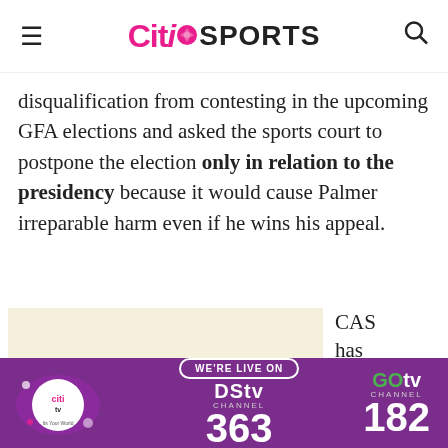Citi Sports
disqualification from contesting in the upcoming GFA elections and asked the sports court to postpone the election only in relation to the presidency because it would cause Palmer irreparable harm even if he wins his appeal.
[Figure (other): Advertisement placeholder block (light cream/beige background)]
CAS has now asked the GFA to indica
[Figure (infographic): DStv Channel 363 and GOtv Channel 182 footer banner advertisement on purple background with Citi TV logo]